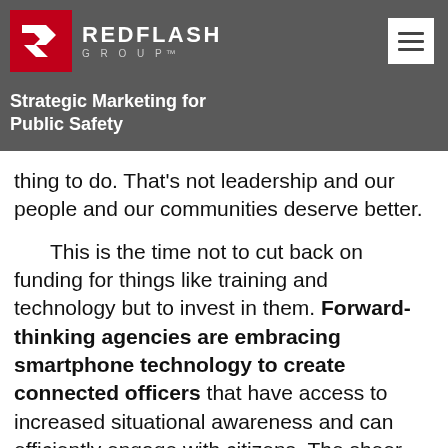[Figure (logo): RedFlash Group logo — red square with stylized R icon, white text REDFLASH GROUP on dark grey background]
Strategic Marketing for Public Safety
thing to do. That's not leadership and our people and our communities deserve better.
This is the time not to cut back on funding for things like training and technology but to invest in them. Forward-thinking agencies are embracing smartphone technology to create connected officers that have access to increased situational awareness and can efficiently engage with citizens. The sheer